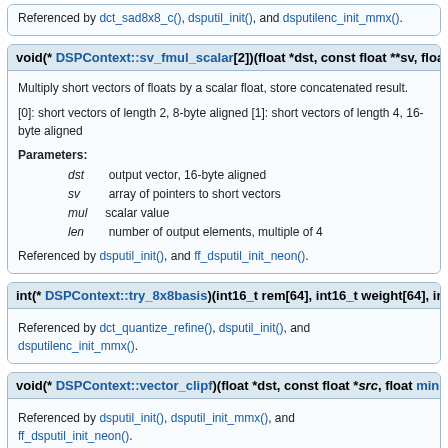Referenced by dct_sad8x8_c(), dsputil_init(), and dsputilenc_init_mmx().
void(* DSPContext::sv_fmul_scalar[2])(float *dst, const float **sv, float mul
Multiply short vectors of floats by a scalar float, store concatenated result.
[0]: short vectors of length 2, 8-byte aligned [1]: short vectors of length 4, 16-byte aligned
Parameters:
dst  output vector, 16-byte aligned
sv   array of pointers to short vectors
mul  scalar value
len  number of output elements, multiple of 4
Referenced by dsputil_init(), and ff_dsputil_init_neon().
int(* DSPContext::try_8x8basis)(int16_t rem[64], int16_t weight[64], int16_t
Referenced by dct_quantize_refine(), dsputil_init(), and dsputilenc_init_mmx().
void(* DSPContext::vector_clipf)(float *dst, const float *src, float min, float
Referenced by dsputil_init(), dsputil_init_mmx(), and ff_dsputil_init_neon().